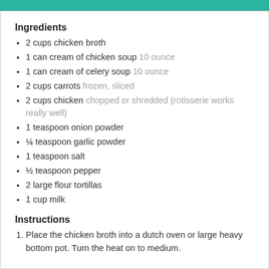Ingredients
2 cups chicken broth
1 can cream of chicken soup 10 ounce
1 can cream of celery soup 10 ounce
2 cups carrots frozen, sliced
2 cups chicken chopped or shredded (rotisserie works really well)
1 teaspoon onion powder
¼ teaspoon garlic powder
1 teaspoon salt
½ teaspoon pepper
2 large flour tortillas
1 cup milk
Instructions
Place the chicken broth into a dutch oven or large heavy bottom pot. Turn the heat on to medium.